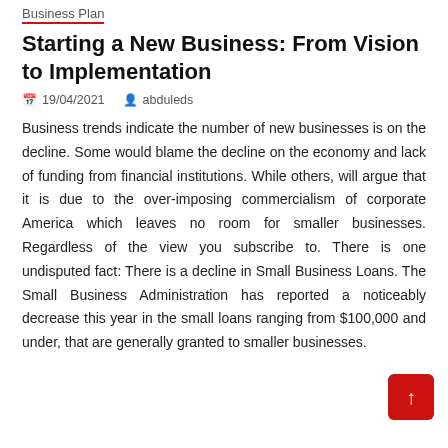Business Plan
Starting a New Business: From Vision to Implementation
19/04/2021   abduleds
Business trends indicate the number of new businesses is on the decline. Some would blame the decline on the economy and lack of funding from financial institutions. While others, will argue that it is due to the over-imposing commercialism of corporate America which leaves no room for smaller businesses. Regardless of the view you subscribe to. There is one undisputed fact: There is a decline in Small Business Loans. The Small Business Administration has reported a noticeably decrease this year in the small loans ranging from $100,000 and under, that are generally granted to smaller businesses.